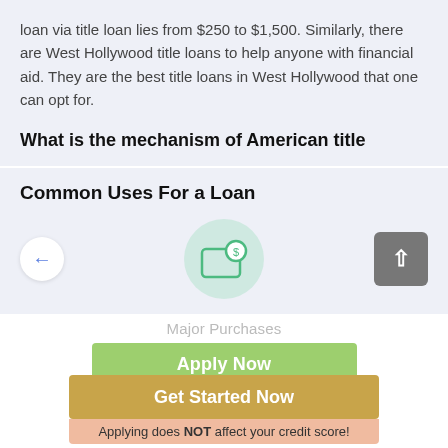loan via title loan lies from $250 to $1,500. Similarly, there are West Hollywood title loans to help anyone with financial aid. They are the best title loans in West Hollywood that one can opt for.
What is the mechanism of American title
Common Uses For a Loan
[Figure (illustration): Carousel slide showing a money bag icon on a light green circle background, with a left arrow button and a right arrow (upload) button on grey square]
Major Purchases
Apply Now
Get Started Now
Applying does NOT affect your credit score!
No credit check to apply.
Application is completely free of charge